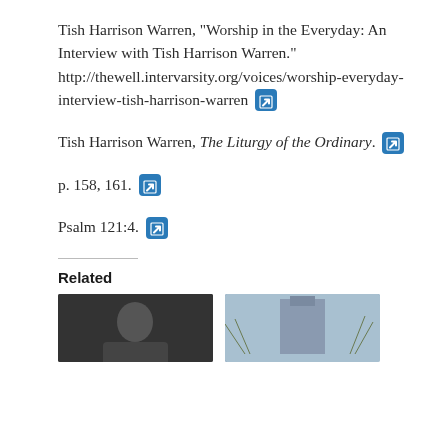Tish Harrison Warren, “Worship in the Everyday: An Interview with Tish Harrison Warren.” http://thewell.intervarsity.org/voices/worship-everyday-interview-tish-harrison-warren ➡
Tish Harrison Warren, The Liturgy of the Ordinary. ➡
p. 158, 161. ➡
Psalm 121:4. ➡
Related
[Figure (photo): Thumbnail photo on the left, appearing to show a person]
[Figure (photo): Thumbnail photo on the right, appearing to show a building or tower against sky with bare trees]